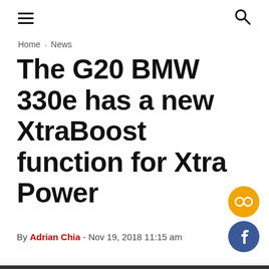≡  🔍
Home › News
The G20 BMW 330e has a new XtraBoost function for Xtra Power
By Adrian Chia - Nov 19, 2018 11:15 am